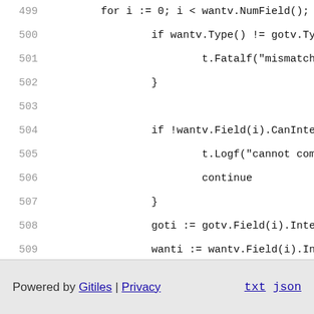499   for i := 0; i < wantv.NumField(); i++ {
500       if wantv.Type() != gotv.Type()
501           t.Fatalf("mismatched ty
502       }
503
504       if !wantv.Field(i).CanInterface
505           t.Logf("cannot compare 
506           continue
507       }
508       goti := gotv.Field(i).Interface
509       wanti := wantv.Field(i).Interfa
510
511       if goti != wanti {
512           t.Errorf("%s:\n  got %v
513       }
514       }
515   }
Powered by Gitiles | Privacy    txt json